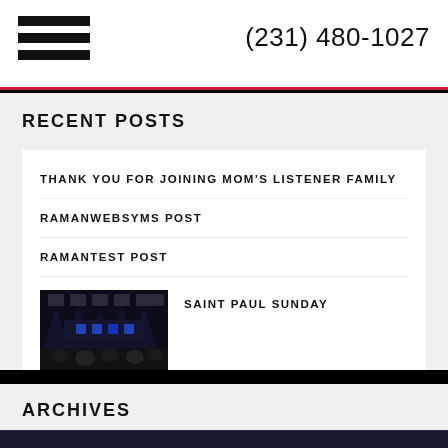(231) 480-1027
RECENT POSTS
THANK YOU FOR JOINING MOM'S LISTENER FAMILY
RAMANWEBSYMS POST
RAMANTEST POST
SAINT PAUL SUNDAY
ARCHIVES
May 2020
April 2020